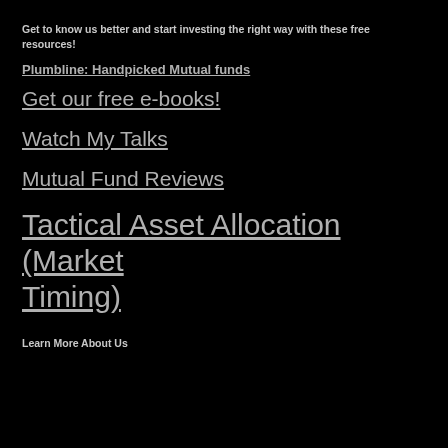Get to know us better and start investing the right way with these free resources!
Plumbline: Handpicked Mutual funds
Get our free e-books!
Watch My Talks
Mutual Fund Reviews
Tactical Asset Allocation (Market Timing)
Learn More About Us